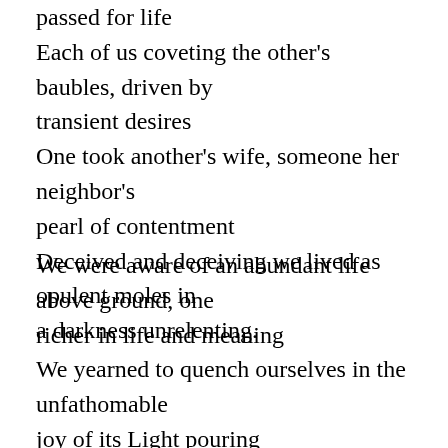passed for life
Each of us coveting the other's baubles, driven by transient desires
One took another's wife, someone her neighbor's pearl of contentment
Deceived and deceiving we lived as opulent moles in a darkness unrelenting.
We were aware of an abundant life above ground, one richer in life and meaning
We yearned to quench ourselves in the unfathomable joy of its Light pouring
Through the dim recesses of our shadowed being, but mechanically going to and fro
We multiplied our labors seeking promised pleasure in glinting mirrors of craving eyes